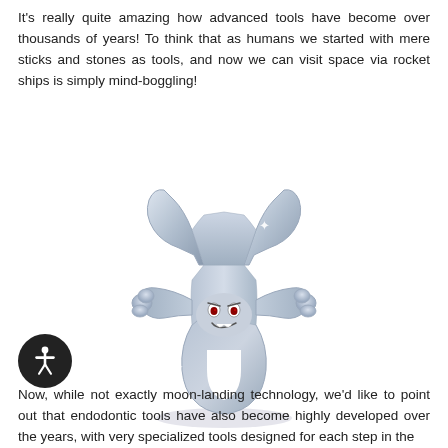It's really quite amazing how advanced tools have become over thousands of years! To think that as humans we started with mere sticks and stones as tools, and now we can visit space via rocket ships is simply mind-boggling!
[Figure (illustration): Cartoon illustration of an animated wrench character with a flexing muscular pose, fists raised, and a smiling/determined expression with red eyes. The wrench is rendered in metallic silver-blue tones with sparkle highlights.]
Now, while not exactly moon-landing technology, we'd like to point out that endodontic tools have also become highly developed over the years, with very specialized tools designed for each step in the